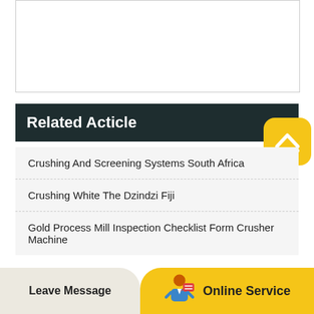[Figure (other): Empty white content box/form area]
Related Acticle
Crushing And Screening Systems South Africa
Crushing White The Dzindzi Fiji
Gold Process Mill Inspection Checklist Form Crusher Machine
Leave Message | Online Service